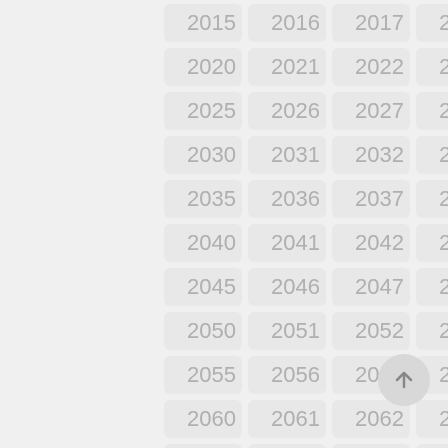2015 2016 2017 2018 2019 2020 2021 2022 2023 2024 2025 2026 2027 2028 2029 2030 2031 2032 2033 2034 2035 2036 2037 2038 2039 2040 2041 2042 2043 2044 2045 2046 2047 2048 2049 2050 2051 2052 2053 2054 2055 2056 2057 2058 2059 2060 2061 2062 2063 2064 2065 2066 2067 2068 2069
[Figure (other): Back to top arrow button, circular grey button with upward arrow icon]